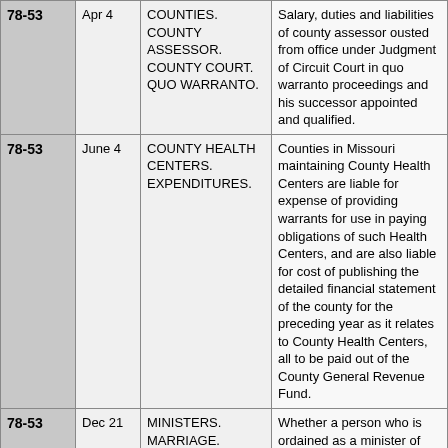| No. | Date | Subject | Description |
| --- | --- | --- | --- |
| 78-53 | Apr 4 | COUNTIES. COUNTY ASSESSOR. COUNTY COURT. QUO WARRANTO. | Salary, duties and liabilities of county assessor ousted from office under Judgment of Circuit Court in quo warranto proceedings and his successor appointed and qualified. |
| 78-53 | June 4 | COUNTY HEALTH CENTERS. EXPENDITURES. | Counties in Missouri maintaining County Health Centers are liable for expense of providing warrants for use in paying obligations of such Health Centers, and are also liable for cost of publishing the detailed financial statement of the county for the preceding year as it relates to County Health Centers, all to be paid out of the County General Revenue Fund. |
| 78-53 | Dec 21 | MINISTERS. MARRIAGE. CRIMINAL LAW. ORDINATION. | Whether a person who is ordained as a minister of the gospel by the Pentecostal Church, Inc., in 1942, remains an ordained minister of the gospel, is a matter which must be determined by the Pentecostal Church, Inc., and such fact will not be determined by this office. If a |